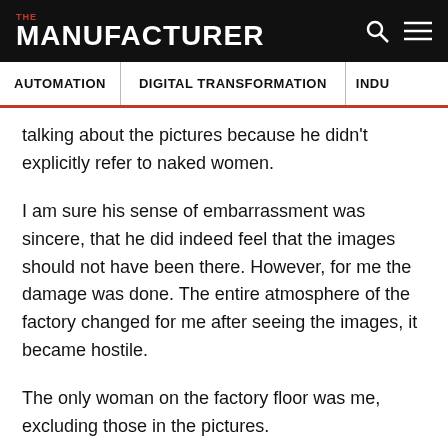THE MANUFACTURER
AUTOMATION | DIGITAL TRANSFORMATION | INDU
talking about the pictures because he didn't explicitly refer to naked women.
I am sure his sense of embarrassment was sincere, that he did indeed feel that the images should not have been there. However, for me the damage was done. The entire atmosphere of the factory changed for me after seeing the images, it became hostile.
The only woman on the factory floor was me, excluding those in the pictures.
Images like this create an uncomfortable environment for